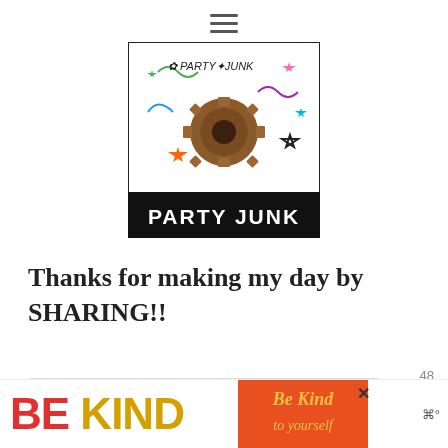[Figure (logo): Party Junk blog logo - decorative image with a rusty gear/sprocket in center, colorful stars and swirls on white background, 'PARTY JUNK' text on black banner at bottom]
Thanks for making my day by SHARING!!
[Figure (screenshot): Gray content box area with like (heart) button showing count 48, and search (magnifying glass) button below it on the right side]
[Figure (infographic): Advertisement banner at bottom: 'BE KIND' text in red and yellow, decorative script image, close X button, weather widget showing 'w°' icon]